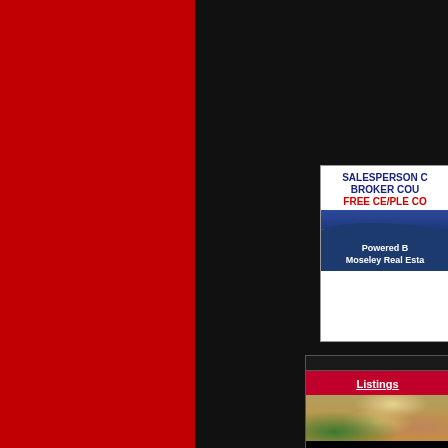[Figure (illustration): Red vertical panel on left side of page]
[Figure (illustration): Black background panel on right side of page]
[Figure (screenshot): Advertisement banner: SALESPERSON C... BROKER COU... FREE CE/PLE CO... Powered B... Moseley Real Esta... — partial view of a real estate school advertisement with white top section, navy blue wave, and dark blue bottom section]
[Figure (photo): Listings section with red header bar showing 'Listings' in white underlined text, and a photo of real estate interior below]